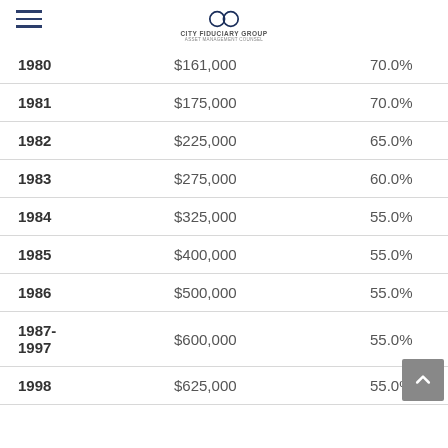City Fiduciary Group
| Year | Amount | Rate |
| --- | --- | --- |
| 1980 | $161,000 | 70.0% |
| 1981 | $175,000 | 70.0% |
| 1982 | $225,000 | 65.0% |
| 1983 | $275,000 | 60.0% |
| 1984 | $325,000 | 55.0% |
| 1985 | $400,000 | 55.0% |
| 1986 | $500,000 | 55.0% |
| 1987-1997 | $600,000 | 55.0% |
| 1998 | $625,000 | 55.0% |